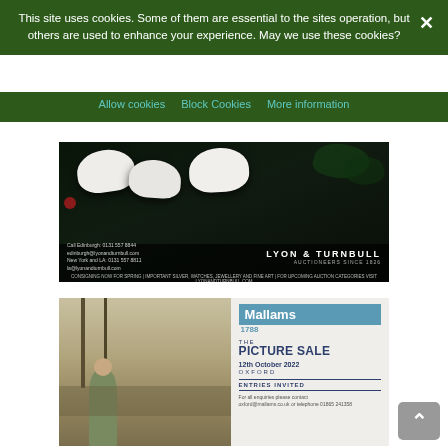This site uses cookies. Some of them are essential to the sites operation, but others are used to enhance your experience. May we use these cookies?
Allow cookies | Block Cookies | More information
[Figure (photo): Lyon & Turnbull auction house advertisement showing white ceramic pig figurines on dark reflective background with foliage, logo reads LYON & TURNBULL AUCTIONEERS SINCE 1826]
[Figure (photo): Mallams 1788 auction house advertisement for THE PICTURE SALE, 12th October 2022, Oxford. Entries Invited. Shows painting of a man standing in a landscape. Contact: oxford@mallams.co.uk or telephone 01865 241358]